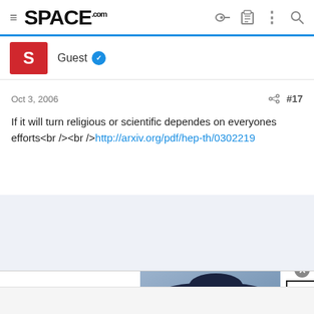SPACE.com
Guest
Oct 3, 2006  #17
If it will turn religious or scientific dependes on everyones efforts<br /><br />http://arxiv.org/pdf/hep-th/0302219
[Figure (photo): Bloomingdale's advertisement banner showing a woman in a wide-brimmed hat with 'View Today's Top Deals!' and 'SHOP NOW >' call to action]